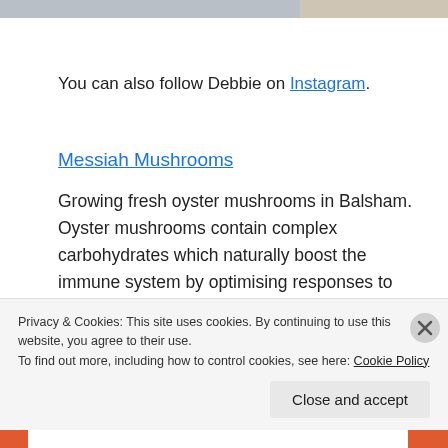[Figure (photo): Partial photo strip at top of page showing two cropped images side by side]
You can also follow Debbie on Instagram.
Messiah Mushrooms
Growing fresh oyster mushrooms in Balsham. Oyster mushrooms contain complex carbohydrates which naturally boost the immune system by optimising responses to diseases and infections. Direct message for delicious, immune boosting oyster mushrooms. You can
Privacy & Cookies: This site uses cookies. By continuing to use this website, you agree to their use.
To find out more, including how to control cookies, see here: Cookie Policy
Close and accept